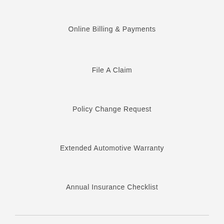Online Billing & Payments
File A Claim
Policy Change Request
Extended Automotive Warranty
Annual Insurance Checklist